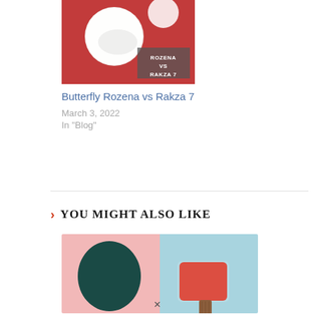[Figure (photo): Blog post thumbnail showing ping pong balls on a red textured surface with an overlay label reading ROZENA VS RAKZA 7]
Butterfly Rozena vs Rakza 7
March 3, 2022
In "Blog"
YOU MIGHT ALSO LIKE
[Figure (photo): Split image showing a dark teal table tennis rubber paddle on a pink background on the left, and a red table tennis paddle with wooden handle on a light blue background on the right]